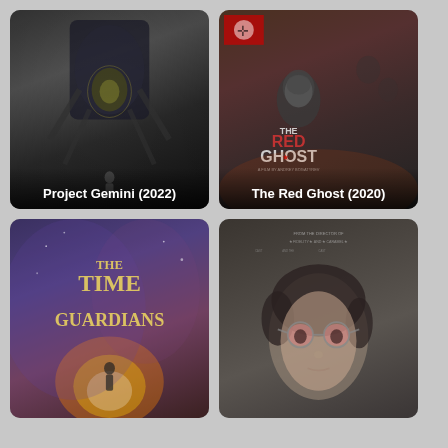[Figure (photo): Movie poster for Project Gemini (2022) - sci-fi film with dark mechanical/alien imagery]
[Figure (photo): Movie poster for The Red Ghost (2020) - WWII action film with soldiers and Nazi imagery]
[Figure (photo): Movie poster for The Time Guardians - sci-fi/fantasy film with golden title text and glowing portal]
[Figure (photo): Movie poster showing a person wearing round pink-tinted glasses, close-up face shot]